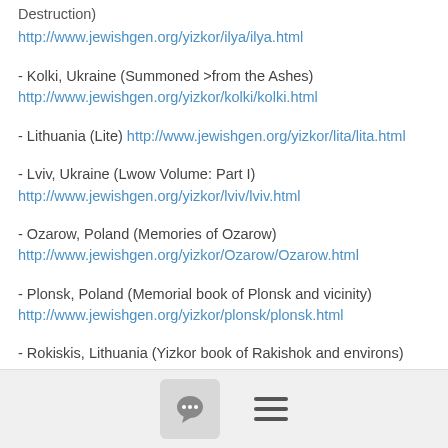Destruction)
http://www.jewishgen.org/yizkor/ilya/ilya.html
- Kolki, Ukraine (Summoned >from the Ashes)
http://www.jewishgen.org/yizkor/kolki/kolki.html
- Lithuania (Lite) http://www.jewishgen.org/yizkor/lita/lita.html
- Lviv, Ukraine (Lwow Volume: Part I)
http://www.jewishgen.org/yizkor/lviv/lviv.html
- Ozarow, Poland (Memories of Ozarow)
http://www.jewishgen.org/yizkor/Ozarow/Ozarow.html
- Plonsk, Poland (Memorial book of Plonsk and vicinity)
http://www.jewishgen.org/yizkor/plonsk/plonsk.html
- Rokiskis, Lithuania (Yizkor book of Rakishok and environs)
http://www.jewishgen.org/yizkor/rokiskis/rokiskis.html
[chat icon] [menu icon]